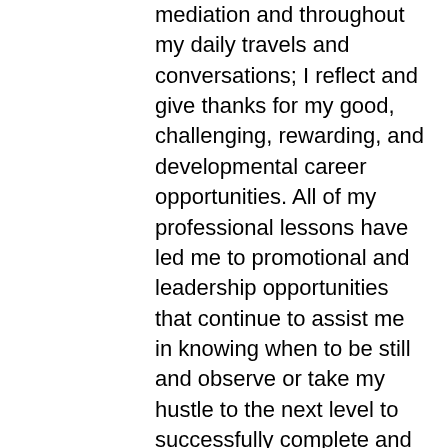mediation and throughout my daily travels and conversations; I reflect and give thanks for my good, challenging, rewarding, and developmental career opportunities. All of my professional lessons have led me to promotional and leadership opportunities that continue to assist me in knowing when to be still and observe or take my hustle to the next level to successfully complete and accomplish a project, task, or goal.
Be grateful to have access to knowledge. From a local, national, and global perspective not everyone has the opportunity to learn and/or develop industry skills through education or